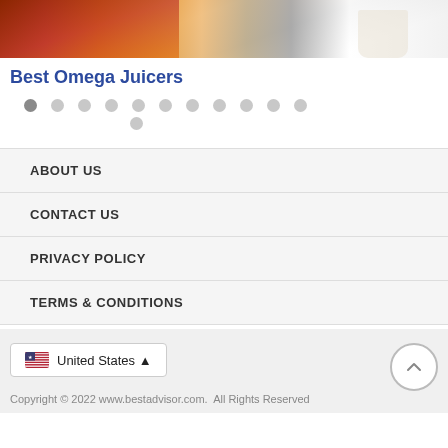[Figure (photo): Photo of carrots, ginger root and vegetables on a wooden surface with a white juicer container, cropped at top]
Best Omega Juicers
[Figure (infographic): Pagination dots: 11 dots in a row plus 1 dot below center, first dot darker (active)]
ABOUT US
CONTACT US
PRIVACY POLICY
TERMS & CONDITIONS
United States ▲
Copyright © 2022 www.bestadvisor.com.  All Rights Reserved